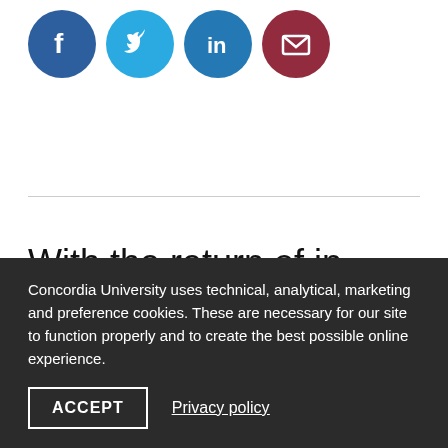[Figure (infographic): Four circular social media sharing icons in a row: Facebook (dark blue), Twitter (light blue), LinkedIn (blue), and Email (dark red/maroon)]
With the return of in-person convocation celebrations for the first time since 2019, Concordia will award new honorary doctorates to seven exceptional individuals who have had
Concordia University uses technical, analytical, marketing and preference cookies. These are necessary for our site to function properly and to create the best possible online experience.
ACCEPT
Privacy policy